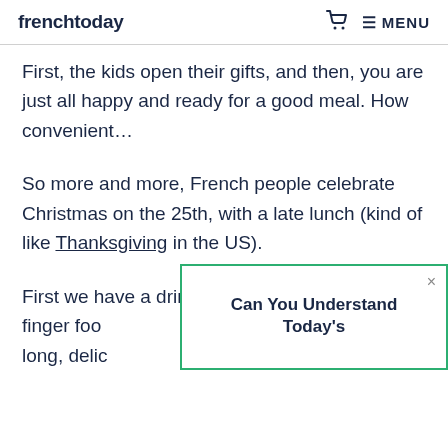frenchtoday   MENU
First, the kids open their gifts, and then, you are just all happy and ready for a good meal. How convenient…
So more and more, French people celebrate Christmas on the 25th, with a late lunch (kind of like Thanksgiving in the US).
First we have a drink of Champagne and some finger foo… long, delic…
[Figure (screenshot): Popup overlay with green border showing title 'Can You Understand Today's' and a close (×) button]